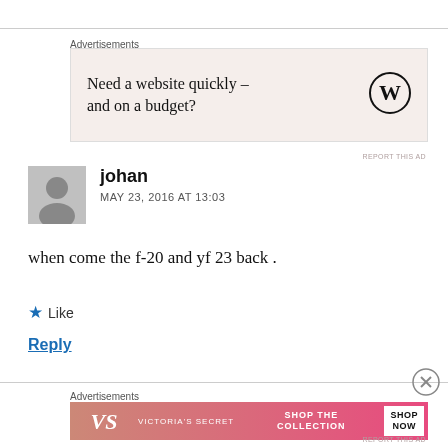[Figure (other): Top advertisement: 'Need a website quickly – and on a budget?' with WordPress logo on beige background]
johan
MAY 23, 2016 AT 13:03
when come the f-20 and yf 23 back .
★ Like
Reply
[Figure (other): Bottom advertisement: Victoria's Secret 'SHOP THE COLLECTION – SHOP NOW']